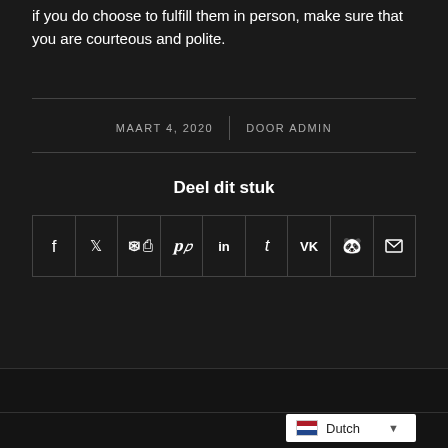if you do choose to fulfill them in person, make sure that you are courteous and polite.
MAART 4, 2020 | DOOR ADMIN
Deel dit stuk
[Figure (other): Social share buttons row: Facebook, Twitter, WhatsApp, Pinterest, LinkedIn, Tumblr, VK, Reddit, Email]
[Figure (other): Language selector dropdown showing Dutch with Netherlands flag]